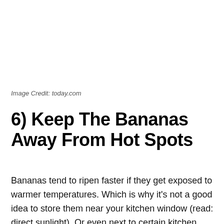Image Credit: today.com
6) Keep The Bananas Away From Hot Spots
Bananas tend to ripen faster if they get exposed to warmer temperatures. Which is why it’s not a good idea to store them near your kitchen window (read: direct sunlight). Or even next to certain kitchen appliances such as the oven, hot flask and stove. Instead, always try to store them in a cool, dark place with sufficient ventilation.